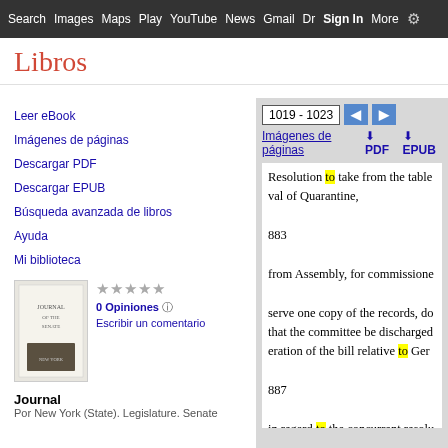Search Images Maps Play YouTube News Gmail Drive More Sign in ⚙
Libros
1019 - 1023
Imágenes de páginas  ↓ PDF  ↓ EPUB
Leer eBook
Imágenes de páginas
Descargar PDF
Descargar EPUB
Búsqueda avanzada de libros
Ayuda
Mi biblioteca
0 Opiniones ℹ
Escribir un comentario
Journal
Por New York (State). Legislature. Senate
Resolution to take from the table val of Quarantine,
883
from Assembly, for commissione
serve one copy of the records, do that the committee be discharged eration of the bill relative to Ger
887
in regard to the concurrent resolu isioners to examine public accour
888
for Clerk of Senate to index Sena ately, and Secretary of State